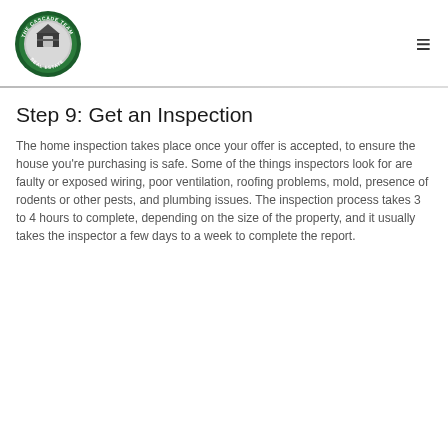[Figure (logo): The Cascade Team Real Estate circular logo with green border and silver/gray house icon in center]
Step 9: Get an Inspection
The home inspection takes place once your offer is accepted, to ensure the house you're purchasing is safe. Some of the things inspectors look for are faulty or exposed wiring, poor ventilation, roofing problems, mold, presence of rodents or other pests, and plumbing issues. The inspection process takes 3 to 4 hours to complete, depending on the size of the property, and it usually takes the inspector a few days to a week to complete the report.